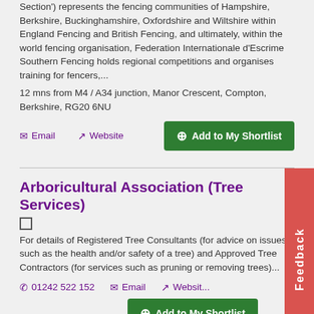Section') represents the fencing communities of Hampshire, Berkshire, Buckinghamshire, Oxfordshire and Wiltshire within England Fencing and British Fencing, and ultimately, within the world fencing organisation, Federation Internationale d'Escrime Southern Fencing holds regional competitions and organises training for fencers,...
12 mns from M4 / A34 junction, Manor Crescent, Compton, Berkshire, RG20 6NU
Email  Website  Add to My Shortlist
Arboricultural Association (Tree Services)
For details of Registered Tree Consultants (for advice on issues such as the health and/or safety of a tree) and Approved Tree Contractors (for services such as pruning or removing trees)...
01242 522 152  Email  Website  Add to My Shortlist